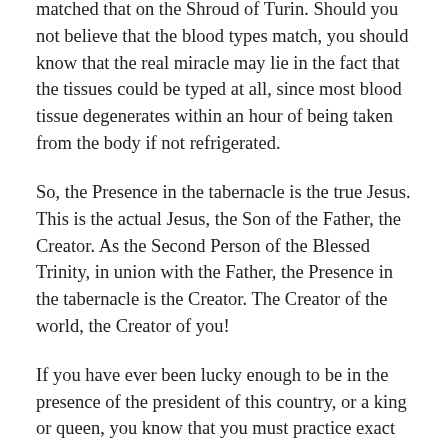matched that on the Shroud of Turin. Should you not believe that the blood types match, you should know that the real miracle may lie in the fact that the tissues could be typed at all, since most blood tissue degenerates within an hour of being taken from the body if not refrigerated.
So, the Presence in the tabernacle is the true Jesus. This is the actual Jesus, the Son of the Father, the Creator. As the Second Person of the Blessed Trinity, in union with the Father, the Presence in the tabernacle is the Creator. The Creator of the world, the Creator of you!
If you have ever been lucky enough to be in the presence of the president of this country, or a king or queen, you know that you must practice exact protocol. You politely wait in line to shake the hand of the president. Or, you curtsey, or bow, when presented to the royalty. Giving either the president or the queen of